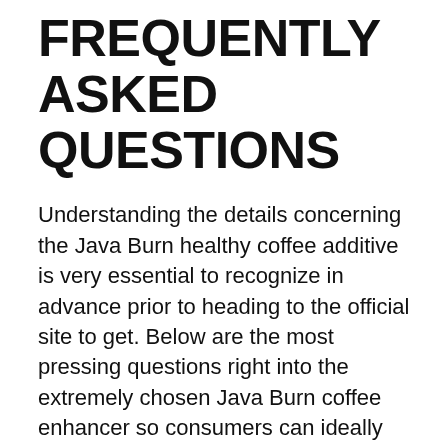FREQUENTLY ASKED QUESTIONS
Understanding the details concerning the Java Burn healthy coffee additive is very essential to recognize in advance prior to heading to the official site to get. Below are the most pressing questions right into the extremely chosen Java Burn coffee enhancer so consumers can ideally understand every one of the important internal operations to make an informed, informed acquiring decision after checking out all of the introduction listed below.
What features does Java Burn have?